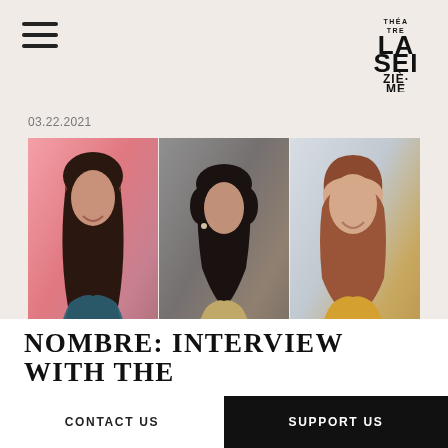LA THÉATRE SEIZIÈME
03.22.2021
[Figure (photo): Three headshot portraits side by side: first woman with long dark wavy hair on pink background, second woman with short dark hair in olive/mustard top against grey wall, third woman with medium auburn hair in yellow sweater on light background.]
NOMBRE: INTERVIEW WITH THE
CONTACT US    SUPPORT US